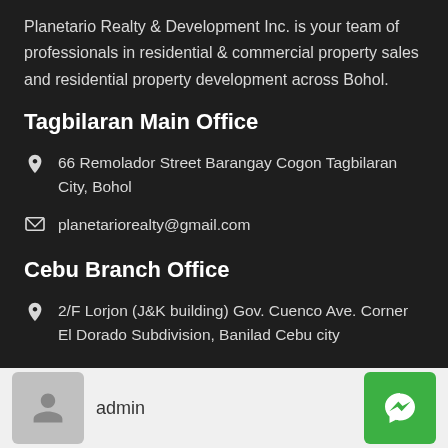Planetario Realty & Development Inc. is your team of professionals in residential & commercial property sales and residential property development across Bohol.
Tagbilaran Main Office
66 Remolador Street Barangay Cogon Tagbilaran City, Bohol
planetariorealty@gmail.com
Cebu Branch Office
2/F Lorjon (J&K building) Gov. Cuenco Ave. Corner El Dorado Subdivision, Banilad Cebu city
admin